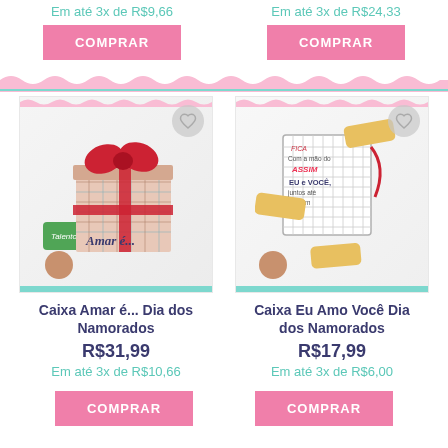Em até 3x de R$9,66
Em até 3x de R$24,33
COMPRAR
COMPRAR
[Figure (photo): Gift box with plaid pattern and red bow ribbon, labeled 'Amar é...' with a Talento chocolate bar beside it]
[Figure (photo): Note card with text 'Fica Comigo do Jeito ASSIM EU e VOCÊ juntos até o fim' with wrapped candy chocolates around it]
Caixa Amar é... Dia dos Namorados
Caixa Eu Amo Você Dia dos Namorados
R$31,99
R$17,99
Em até 3x de R$10,66
Em até 3x de R$6,00
COMPRAR
COMPRAR